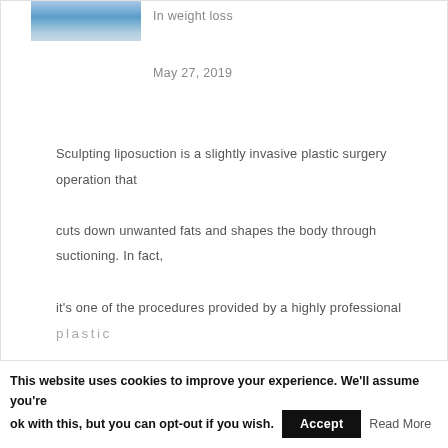[Figure (photo): Partial image of a medical professional, cropped at top-left corner]
In weight loss
May 27, 2019
Sculpting liposuction is a slightly invasive plastic surgery operation that cuts down unwanted fats and shapes the body through suctioning. In fact, it's one of the procedures provided by a highly professional plastic surgeon in Bondi Junction, Sydney. It's also called lipoplasty. This surgical procedure began 30 years ago in France. Since then, it has been adopted worldwide because it is safe and consistency of its results.
This website uses cookies to improve your experience. We'll assume you're ok with this, but you can opt-out if you wish.
Accept
Read More